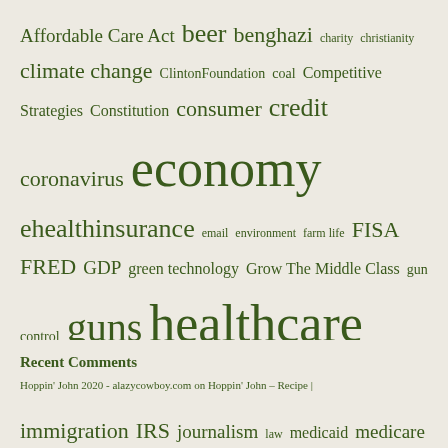[Figure (other): Tag cloud with words of varying sizes related to politics, health, finance, and other topics, all in dark green color on a light beige background.]
Recent Comments
Hoppin' John 2020 - alazycowboy.com on Hoppin' John – Recipe |